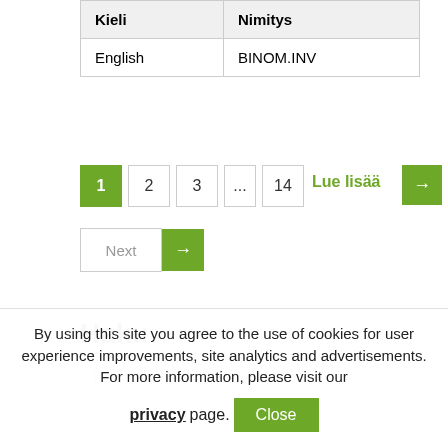| Kieli | Nimitys |
| --- | --- |
| English | BINOM.INV |
[Figure (other): Pagination bar showing pages 1, 2, 3, ..., 14 with green active page 1 and arrow button, plus green Lue lisää label with arrow]
[Figure (other): Next button with green arrow]
Haku
[Figure (other): Search input box with placeholder text: Type and press enter to search]
By using this site you agree to the use of cookies for user experience improvements, site analytics and advertisements. For more information, please visit our privacy page.